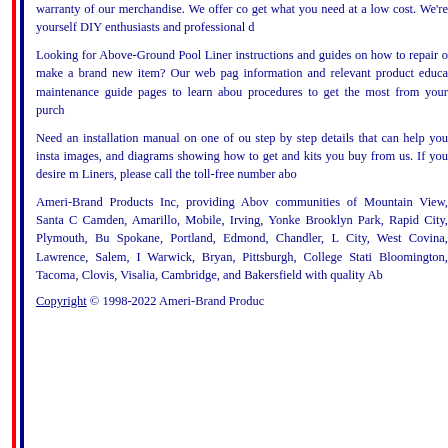warranty of our merchandise. We offer co get what you need at a low cost. We're yourself DIY enthusiasts and professional d
Looking for Above-Ground Pool Liner instructions and guides on how to repair o make a brand new item? Our web pag information and relevant product educa maintenance guide pages to learn abou procedures to get the most from your purch
Need an installation manual on one of ou step by step details that can help you insta images, and diagrams showing how to get and kits you buy from us. If you desire m Liners, please call the toll-free number abo
Ameri-Brand Products Inc, providing Abov communities of Mountain View, Santa C Camden, Amarillo, Mobile, Irving, Yonke Brooklyn Park, Rapid City, Plymouth, Bu Spokane, Portland, Edmond, Chandler, L City, West Covina, Lawrence, Salem, I Warwick, Bryan, Pittsburgh, College Stati Bloomington, Tacoma, Clovis, Visalia, Cambridge, and Bakersfield with quality Ab
Copyright © 1998-2022 Ameri-Brand Produc